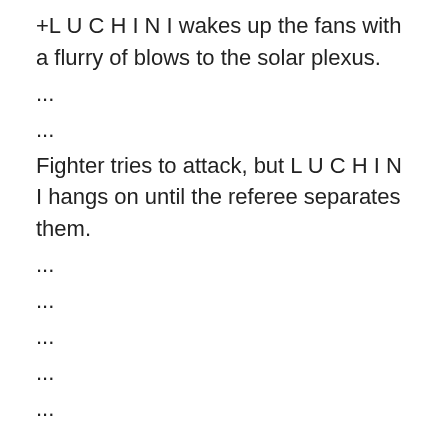+L U C H I N I wakes up the fans with a flurry of blows to the solar plexus.
...
...
Fighter tries to attack, but L U C H I N I hangs on until the referee separates them.
...
...
...
...
...
...
...
...
...
...
Fighter tries to attack, but L U C H I N I hangs on until the referee separates them.